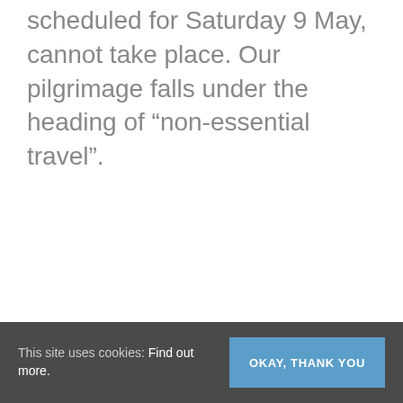scheduled for Saturday 9 May, cannot take place. Our pilgrimage falls under the heading of “non-essential travel”.
This site uses cookies: Find out more.